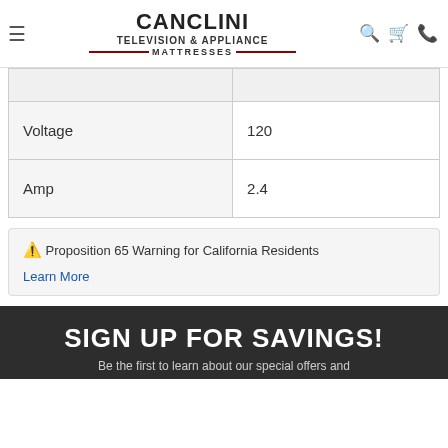CANCLINI TELEVISION & APPLIANCE MATTRESSES
|  |  |
| Voltage | 120 |
| Amp | 2.4 |
⚠ Proposition 65 Warning for California Residents
Learn More
SIGN UP FOR SAVINGS!
Be the first to learn about our special offers and